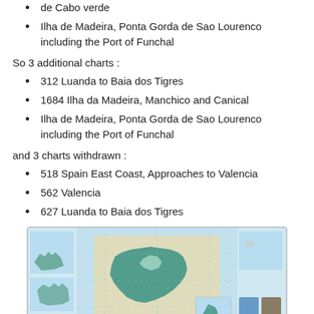de Cabo verde
Ilha de Madeira, Ponta Gorda de Sao Lourenco including the Port of Funchal
So 3 additional charts :
312 Luanda to Baia dos Tigres
1684 Ilha da Madeira, Manchico and Canical
Ilha de Madeira, Ponta Gorda de Sao Lourenco including the Port of Funchal
and 3 charts withdrawn :
518 Spain East Coast, Approaches to Valencia
562 Valencia
627 Luanda to Baia dos Tigres
[Figure (map): A nautical chart showing Iceland and surrounding waters with teal/green landmass, orange/beige shaded regions, and inset maps in corners showing additional detail areas.]